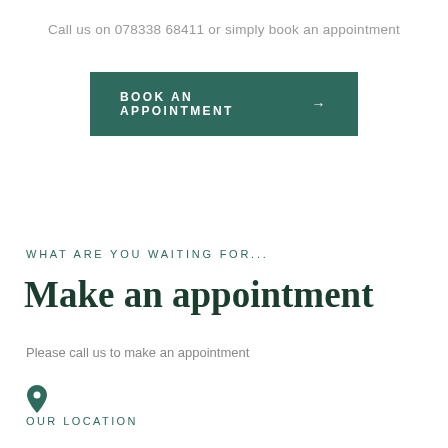Call us on 078338 68411 or simply book an appointment
[Figure (other): Dark green 'BOOK AN APPOINTMENT →' button]
WHAT ARE YOU WAITING FOR...
Make an appointment
Please call us to make an appointment
[Figure (illustration): Location pin icon in teal/green]
OUR LOCATION